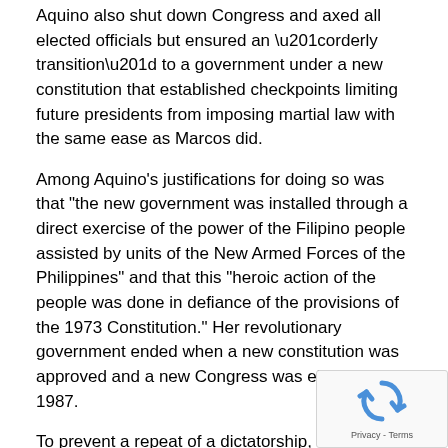Aquino also shut down Congress and axed all elected officials but ensured an “orderly transition” to a government under a new constitution that established checkpoints limiting future presidents from imposing martial law with the same ease as Marcos did.
Among Aquino’s justifications for doing so was that “the new government was installed through a direct exercise of the power of the Filipino people assisted by units of the New Armed Forces of the Philippines” and that this “heroic action of the people was done in defiance of the provisions of the 1973 Constitution.” Her revolutionary government ended when a new constitution was approved and a new Congress was elected in 1987.
To prevent a repeat of a dictatorship, the 1987 Constitution limits presidents to single six-year term. Despite drawing jeers from his critics, Duterte early this week said that his threat to set up a revolutionary government was not intended to prolong his stay in power because he was not happy being president.
Once the revolution government is established, Duterte said he would order the security forces to arrest all destabilizers and go on